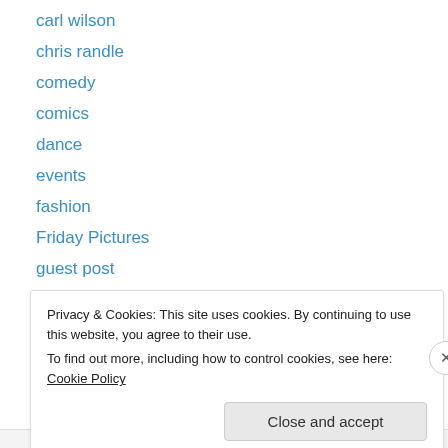carl wilson
chris randle
comedy
comics
dance
events
fashion
Friday Pictures
guest post
lectures
linkblogging
literature
margaux williamson
Privacy & Cookies: This site uses cookies. By continuing to use this website, you agree to their use.
To find out more, including how to control cookies, see here: Cookie Policy
Close and accept